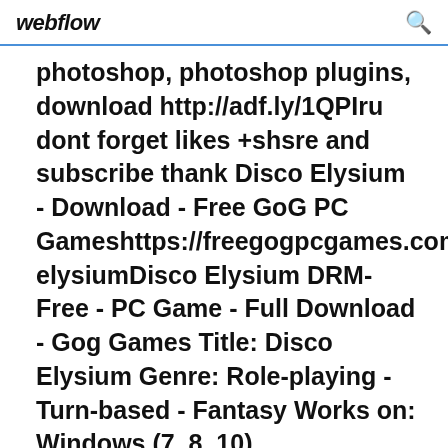webflow
photoshop, photoshop plugins, download http://adf.ly/1QPIru dont forget likes +shsre and subscribe thank Disco Elysium - Download - Free GoG PC Gameshttps://freegogpcgames.com/d elysiumDisco Elysium DRM-Free - PC Game - Full Download - Gog Games Title: Disco Elysium Genre: Role-playing - Turn-based - Fantasy Works on: Windows (7, 8, 10)
p...